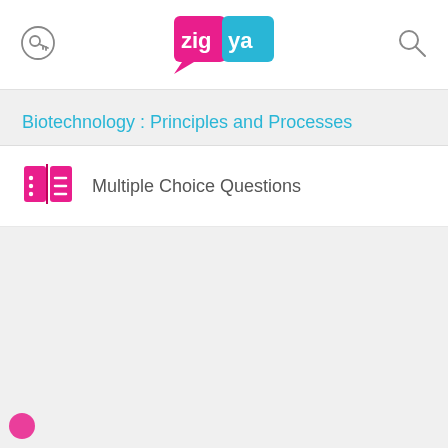Zigya
Biotechnology : Principles and Processes
Multiple Choice Questions